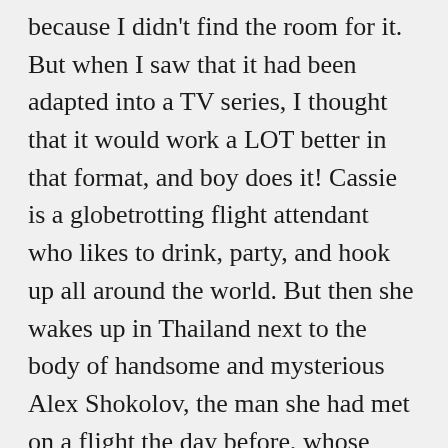because I didn't find the room for it. But when I saw that it had been adapted into a TV series, I thought that it would work a LOT better in that format, and boy does it! Cassie is a globetrotting flight attendant who likes to drink, party, and hook up all around the world. But then she wakes up in Thailand next to the body of handsome and mysterious Alex Shokolov, the man she had met on a flight the day before, whose corpse is covered in blood. No memory of the night before, Cassie panics, cleans the scene, and flees. But what she doesn't know is that not only are the feds in the U.S. interested in what happened, so is someone else who is tailing her. My husband and I are addicted to this thrilling show, with great performances from Kelly Cuoco, Rosie